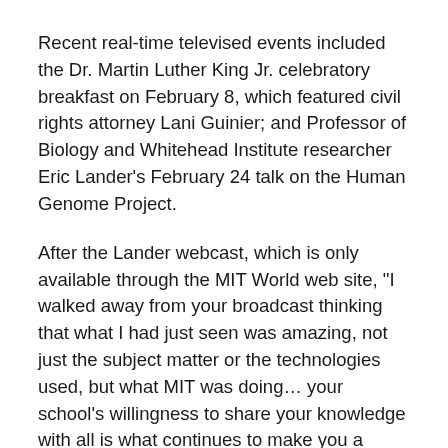Recent real-time televised events included the Dr. Martin Luther King Jr. celebratory breakfast on February 8, which featured civil rights attorney Lani Guinier; and Professor of Biology and Whitehead Institute researcher Eric Lander's February 24 talk on the Human Genome Project.
After the Lander webcast, which is only available through the MIT World web site, "I walked away from your broadcast thinking that what I had just seen was amazing, not just the subject matter or the technologies used, but what MIT was doing… your school's willingness to share your knowledge with all is what continues to make you a world-class institution," wrote James M. Dolan, husband of